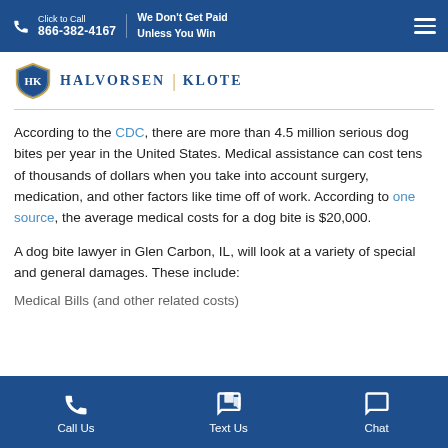Click to Call 866-382-4167 | We Don't Get Paid Unless You Win
[Figure (logo): Halvorsen Klote law firm logo with shield icon]
According to the CDC, there are more than 4.5 million serious dog bites per year in the United States. Medical assistance can cost tens of thousands of dollars when you take into account surgery, medication, and other factors like time off of work. According to one source, the average medical costs for a dog bite is $20,000.
A dog bite lawyer in Glen Carbon, IL, will look at a variety of special and general damages. These include:
Medical Bills (partially visible)
Call Us | Text Us | Chat